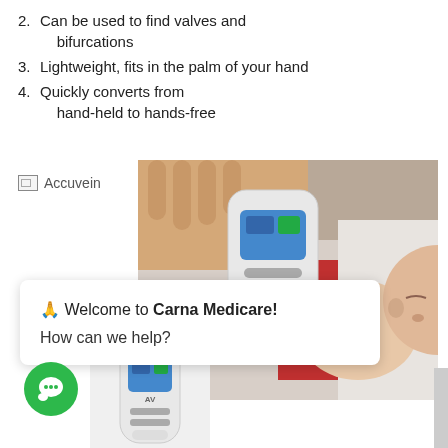2. Can be used to find valves and bifurcations
3. Lightweight, fits in the palm of your hand
4. Quickly converts from hand-held to hands-free
[Figure (photo): Broken/missing image placeholder labeled 'Accuvein']
[Figure (photo): Photo of a medical professional using an Accuvein vein finder device on a newborn baby]
🙏 Welcome to Carna Medicare! How can we help?
[Figure (photo): Accuvein vein finder device product image]
[Figure (other): Green chat/message button icon]